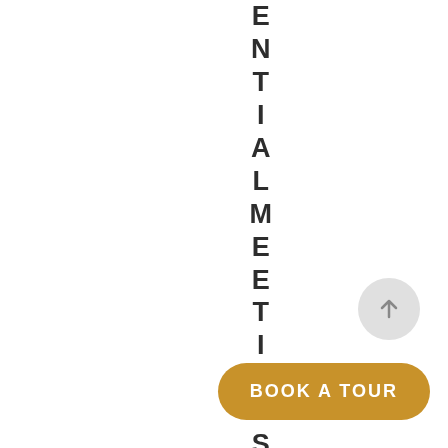ENTIALMEETINGS.WORKEF
[Figure (other): Circular grey scroll-to-top button with upward arrow icon]
BOOK A TOUR